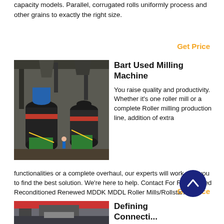capacity models. Parallel, corrugated rolls uniformly process and other grains to exactly the right size.
Get Price
Bart Used Milling Machine
[Figure (photo): Industrial milling machines in a factory setting with large cylindrical mills on metal stands]
You raise quality and productivity. Whether it's one roller mill or a complete Roller milling production line, addition of extra functionalities or a complete overhaul, our experts will work with you to find the best solution. We're here to help. Contact For Refurbished Reconditioned Renewed MDDK MDDL Roller Mills/Rollstands/
Get Price
Defining Connecting...
[Figure (photo): Industrial machinery interior, partially visible at bottom of page]